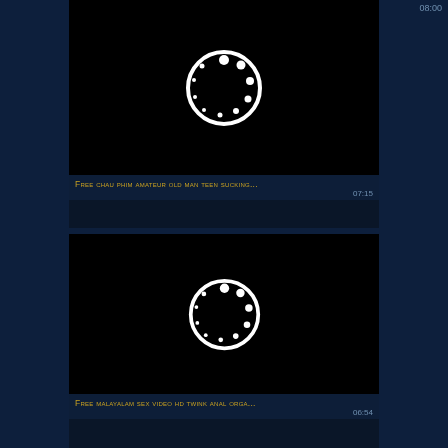08:00
[Figure (screenshot): Black video thumbnail with white loading spinner circle icon]
Free chau phim amateur old man teen sucking...
07:15
[Figure (screenshot): Black video thumbnail with white loading spinner circle icon]
Free malayalam sex video hd twink anal orga...
06:54